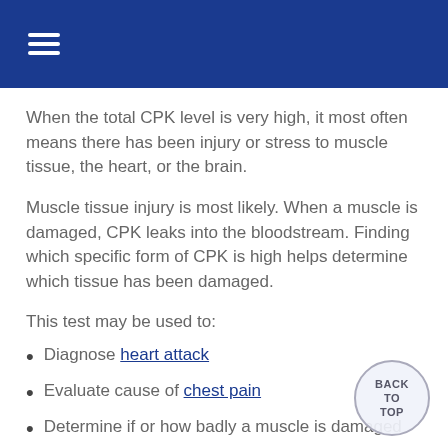When the total CPK level is very high, it most often means there has been injury or stress to muscle tissue, the heart, or the brain.
Muscle tissue injury is most likely. When a muscle is damaged, CPK leaks into the bloodstream. Finding which specific form of CPK is high helps determine which tissue has been damaged.
This test may be used to:
Diagnose heart attack
Evaluate cause of chest pain
Determine if or how badly a muscle is damaged
Detect dermatomyositis, polymyositis, and other